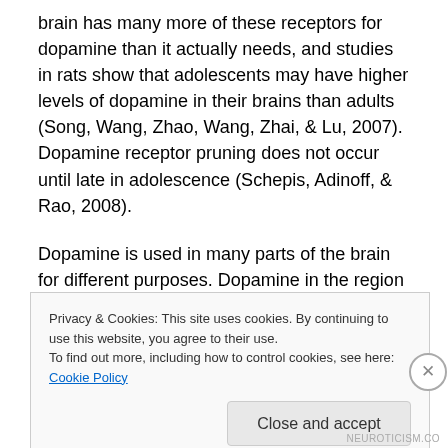brain has many more of these receptors for dopamine than it actually needs, and studies in rats show that adolescents may have higher levels of dopamine in their brains than adults (Song, Wang, Zhao, Wang, Zhai, & Lu, 2007). Dopamine receptor pruning does not occur until late in adolescence (Schepis, Adinoff, & Rao, 2008).
Dopamine is used in many parts of the brain for different purposes. Dopamine in the region of the brain called the nucleus accumbens promotes motivated action and learning (Schepis, Adinoff, & Rao, 2008). The nucleus
Privacy & Cookies: This site uses cookies. By continuing to use this website, you agree to their use.
To find out more, including how to control cookies, see here: Cookie Policy
Close and accept